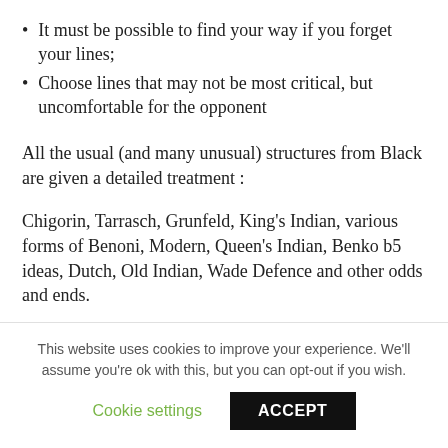It must be possible to find your way if you forget your lines;
Choose lines that may not be most critical, but uncomfortable for the opponent
All the usual (and many unusual) structures from Black are given a detailed treatment :
Chigorin, Tarrasch, Grunfeld, King’s Indian, various forms of Benoni, Modern, Queen’s Indian, Benko b5 ideas, Dutch, Old Indian, Wade Defence and other odds and ends.
An interesting comment we noted elsewhere was from IM John Donaldson : “A worthy follow-up with the author achieving the near impossible in carving out a cohesive
This website uses cookies to improve your experience. We’ll assume you’re ok with this, but you can opt-out if you wish.
Cookie settings   ACCEPT